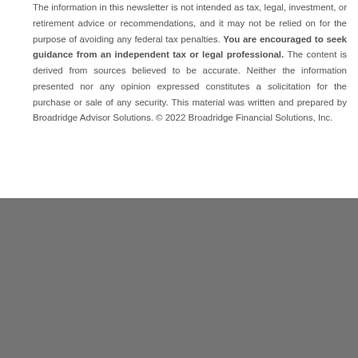The information in this newsletter is not intended as tax, legal, investment, or retirement advice or recommendations, and it may not be relied on for the purpose of avoiding any federal tax penalties. You are encouraged to seek guidance from an independent tax or legal professional. The content is derived from sources believed to be accurate. Neither the information presented nor any opinion expressed constitutes a solicitation for the purchase or sale of any security. This material was written and prepared by Broadridge Advisor Solutions. © 2022 Broadridge Financial Solutions, Inc.
Harold McIntosh is licensed in AR, FL, MI, MS, NY and VA to offer insurance products, and life insurance (including variable life), annuities (including variable annuities), and is securities